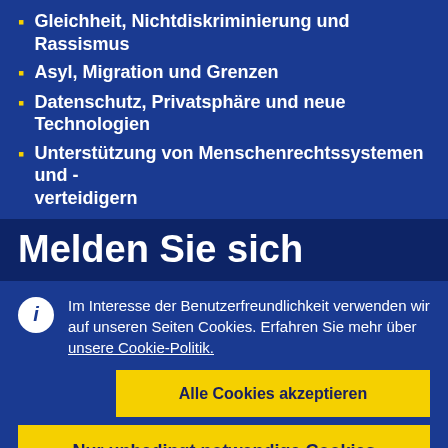Gleichheit, Nichtdiskriminierung und Rassismus
Asyl, Migration und Grenzen
Datenschutz, Privatsphäre und neue Technologien
Unterstützung von Menschenrechtssystemen und -verteidigern
Melden Sie sich
Im Interesse der Benutzerfreundlichkeit verwenden wir auf unseren Seiten Cookies. Erfahren Sie mehr über unsere Cookie-Politik.
Alle Cookies akzeptieren
Nur unbedingt notwendige Cookies akzeptieren